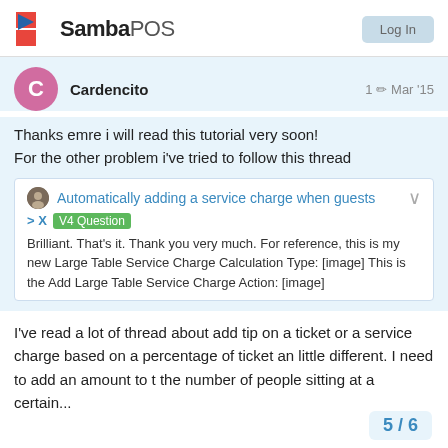SambaPOS
Cardencito   1 ✏  Mar '15
Thanks emre i will read this tutorial very soon!
For the other problem i've tried to follow this thread
Automatically adding a service charge when guests
> X  V4 Question
Brilliant. That's it. Thank you very much. For reference, this is my new Large Table Service Charge Calculation Type: [image] This is the Add Large Table Service Charge Action: [image]
I've read a lot of thread about add tip on a ticket or a service charge based on a percentage of ticket an little different. I need to add an amount to t the number of people sitting at a certain...
5 / 6